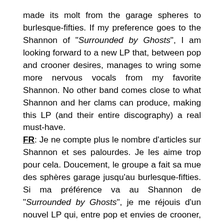made its molt from the garage spheres to burlesque-fifties. If my preference goes to the Shannon of "Surrounded by Ghosts", I am looking forward to a new LP that, between pop and crooner desires, manages to wring some more nervous vocals from my favorite Shannon. No other band comes close to what Shannon and her clams can produce, making this LP (and their entire discography) a real must-have.
FR: Je ne compte plus le nombre d'articles sur Shannon et ses palourdes. Je les aime trop pour cela. Doucement, le groupe a fait sa mue des sphères garage jusqu'au burlesque-fifties. Si ma préférence va au Shannon de "Surrounded by Ghosts", je me réjouis d'un nouvel LP qui, entre pop et envies de crooner, réussi à arracher quelques vocales plus nerveuses à ma